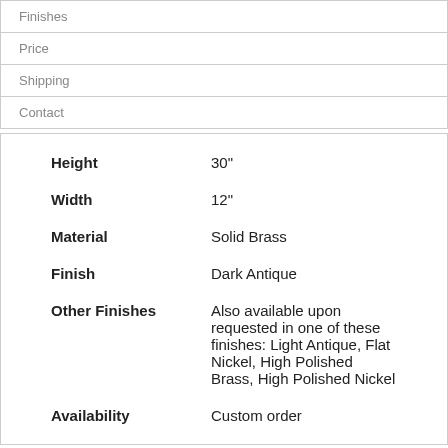Finishes
Price
Shipping
Contact
| Property | Value |
| --- | --- |
| Height | 30" |
| Width | 12" |
| Material | Solid Brass |
| Finish | Dark Antique |
| Other Finishes | Also available upon requested in one of these finishes: Light Antique, Flat Nickel, High Polished Brass, High Polished Nickel |
| Availability | Custom order |